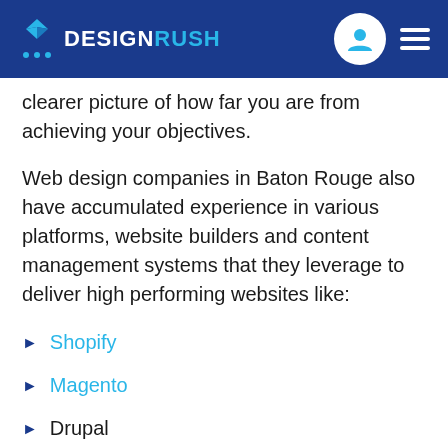DESIGNRUSH
clearer picture of how far you are from achieving your objectives.
Web design companies in Baton Rouge also have accumulated experience in various platforms, website builders and content management systems that they leverage to deliver high performing websites like:
Shopify
Magento
Drupal